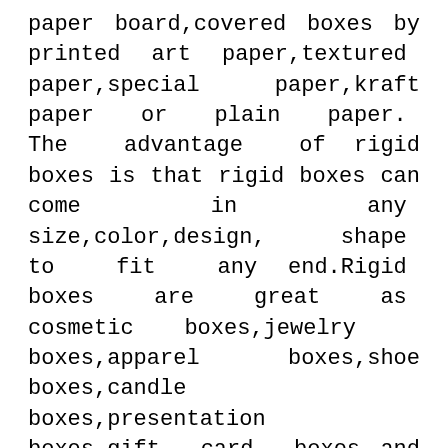paper board,covered boxes by printed art paper,textured paper,special paper,kraft paper or plain paper. The advantage of rigid boxes is that rigid boxes can come in any size,color,design, shape to fit any end.Rigid boxes are great as cosmetic boxes,jewelry boxes,apparel boxes,shoe boxes,candle boxes,wine boxes,presentation boxes,gift card boxes and more end.
GiftPack is experienced manufacturer of custom rigid boxes. GiftPack can produce any style of rigid boxes including two piece rigid boxes with lift off lid,hinged lid rigid boxes,slipcase,drawer boxes,neck rigid boxes,shoulder rigid boxes.All rigid boxes at GiftPack can be customized and importantly there is no minimum order quantity for custom rigid boxes at